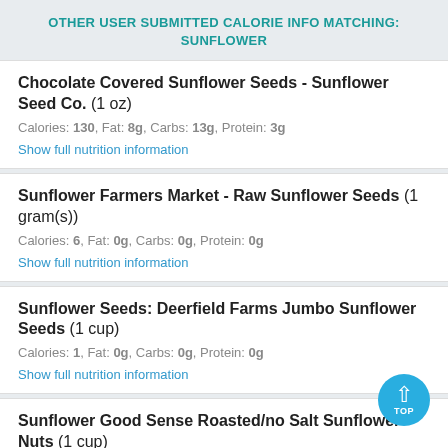OTHER USER SUBMITTED CALORIE INFO MATCHING: SUNFLOWER
Chocolate Covered Sunflower Seeds - Sunflower Seed Co. (1 oz)
Calories: 130, Fat: 8g, Carbs: 13g, Protein: 3g
Show full nutrition information
Sunflower Farmers Market - Raw Sunflower Seeds (1 gram(s))
Calories: 6, Fat: 0g, Carbs: 0g, Protein: 0g
Show full nutrition information
Sunflower Seeds: Deerfield Farms Jumbo Sunflower Seeds (1 cup)
Calories: 1, Fat: 0g, Carbs: 0g, Protein: 0g
Show full nutrition information
Sunflower Good Sense Roasted/no Salt Sunflower Nuts (1 cup)
Calories: 2, Fat: 0g, Carbs: 0g, Protein: 0g